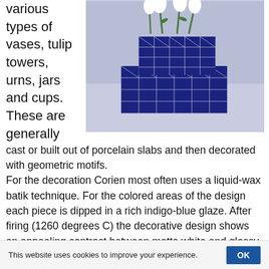various types of vases, tulip towers, urns, jars and cups. These are generally cast or built out of porcelain slabs and then decorated with geometric motifs.
[Figure (photo): Photo of two blue and white geometric patterned square ceramic containers with white tulips arranged in them, on a light grey background.]
For the decoration Corien most often uses a liquid-wax batik technique. For the colored areas of the design each piece is dipped in a rich indigo-blue glaze. After firing (1260 degrees C) the decorative design shows an appealing contrast between matte white and glossy deep blue. This technique also develops a tactile relief effect between the thickly glazed and the unglazed surfaces that is pleasing to the touch.
This website uses cookies to improve your experience.